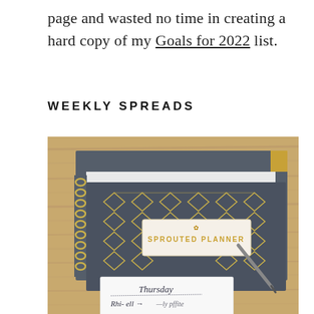page and wasted no time in creating a hard copy of my Goals for 2022 list.
WEEKLY SPREADS
[Figure (photo): Photo of a Sprouted Planner (dark gray with gold geometric diamond pattern cover) lying on a wooden surface, with a spiral-bound notebook behind it, a pen resting on top, and a small card showing handwritten 'Thursday' and other text in the foreground.]